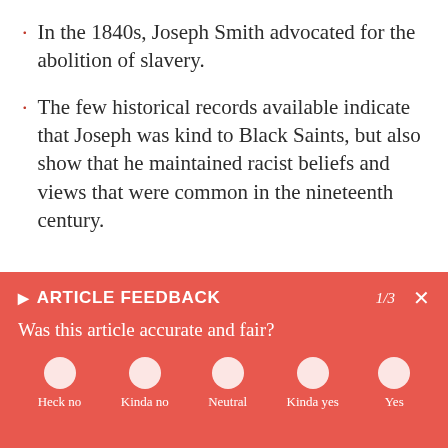In the 1840s, Joseph Smith advocated for the abolition of slavery.
The few historical records available indicate that Joseph was kind to Black Saints, but also show that he maintained racist beliefs and views that were common in the nineteenth century.
▶ ARTICLE FEEDBACK   1/3   ×
Was this article accurate and fair?
Heck no  Kinda no  Neutral  Kinda yes  Yes